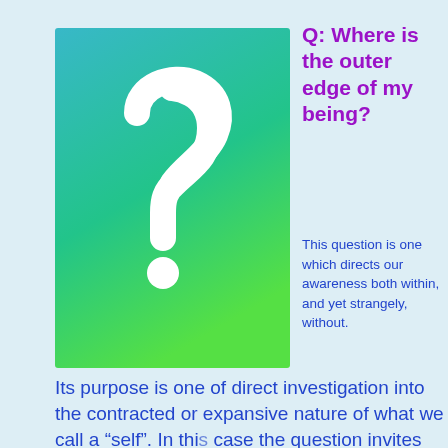[Figure (illustration): A rectangle with a teal-to-green gradient background containing a large white question mark symbol centered on it.]
Q: Where is the outer edge of my being?
This question is one which directs our awareness both within, and yet strangely, without.
Its purpose is one of direct investigation into the contracted or expansive nature of what we call a “self”. In this case the question invites us to turn within, and then, starting with the sense of self, we begin to